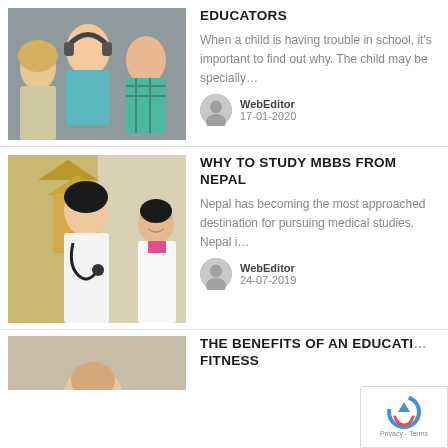[Figure (photo): Two children in a classroom setting, one wearing headphones]
EDUCATORS
When a child is having trouble in school, it's important to find out why. The child may be specially…
WebEditor
17-01-2020
[Figure (photo): Two medical professionals in white lab coats with stethoscopes, with Asian temple architecture in background]
WHY TO STUDY MBBS FROM NEPAL
Nepal has becoming the most approached destination for pursuing medical studies. Nepal i…
WebEditor
24-07-2019
[Figure (photo): Partial view of a person, bottom of page]
THE BENEFITS OF AN EDUCATION... FITNESS